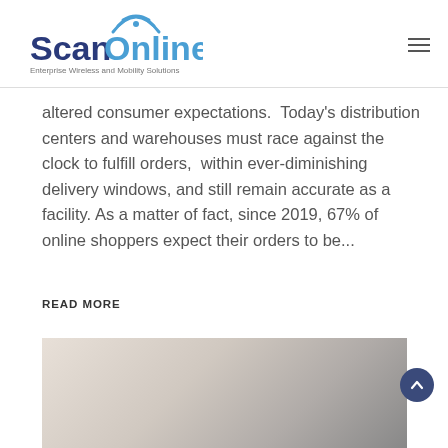ScanOnline — Enterprise Wireless and Mobility Solutions
altered consumer expectations.  Today's distribution centers and warehouses must race against the clock to fulfill orders,  within ever-diminishing delivery windows, and still remain accurate as a facility. As a matter of fact, since 2019, 67% of online shoppers expect their orders to be...
READ MORE
[Figure (photo): Partial view of a person near a device or tablet, bottom of the page]